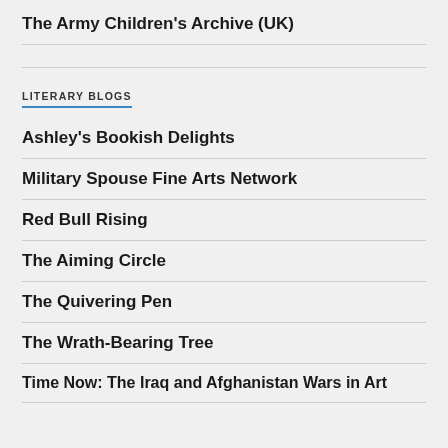The Army Children's Archive (UK)
LITERARY BLOGS
Ashley's Bookish Delights
Military Spouse Fine Arts Network
Red Bull Rising
The Aiming Circle
The Quivering Pen
The Wrath-Bearing Tree
Time Now: The Iraq and Afghanistan Wars in Art